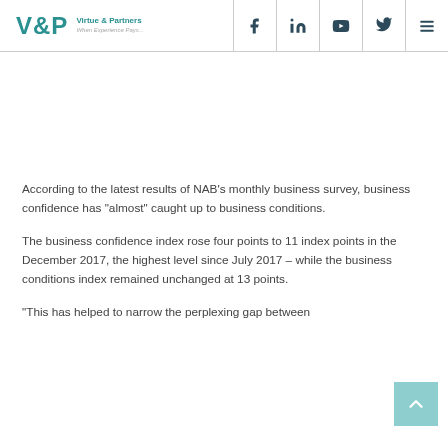V&P Virtue & Partners — When Experience Pays...
According to the latest results of NAB's monthly business survey, business confidence has “almost” caught up to business conditions.
The business confidence index rose four points to 11 index points in the December 2017, the highest level since July 2017 – while the business conditions index remained unchanged at 13 points.
“This has helped to narrow the perplexing gap between